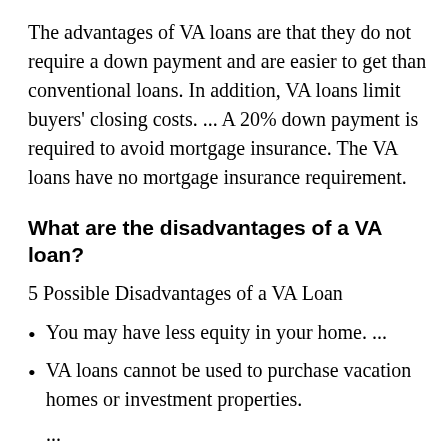The advantages of VA loans are that they do not require a down payment and are easier to get than conventional loans. In addition, VA loans limit buyers' closing costs. ... A 20% down payment is required to avoid mortgage insurance. The VA loans have no mortgage insurance requirement.
What are the disadvantages of a VA loan?
5 Possible Disadvantages of a VA Loan
You may have less equity in your home. ...
VA loans cannot be used to purchase vacation homes or investment properties.
...